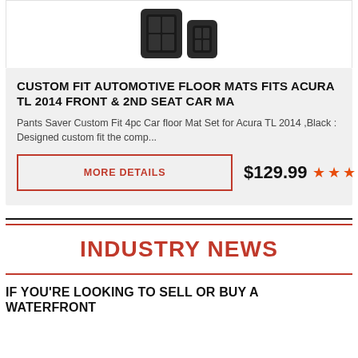[Figure (photo): Two black car floor mats side by side — a larger mat and a smaller mat, both dark with grid texture, shown partially at top of card]
CUSTOM FIT AUTOMOTIVE FLOOR MATS FITS ACURA TL 2014 FRONT & 2ND SEAT CAR MA
Pants Saver Custom Fit 4pc Car floor Mat Set for Acura TL 2014 ,Black : Designed custom fit the comp...
MORE DETAILS
$129.99 ★★★★★
INDUSTRY NEWS
IF YOU'RE LOOKING TO SELL OR BUY A WATERFRONT